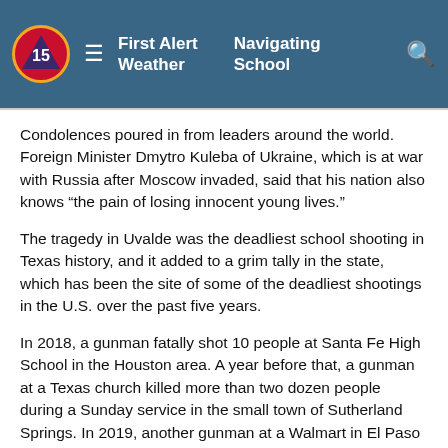First Alert Weather | Navigating School
Condolences poured in from leaders around the world. Foreign Minister Dmytro Kuleba of Ukraine, which is at war with Russia after Moscow invaded, said that his nation also knows “the pain of losing innocent young lives.”
The tragedy in Uvalde was the deadliest school shooting in Texas history, and it added to a grim tally in the state, which has been the site of some of the deadliest shootings in the U.S. over the past five years.
In 2018, a gunman fatally shot 10 people at Santa Fe High School in the Houston area. A year before that, a gunman at a Texas church killed more than two dozen people during a Sunday service in the small town of Sutherland Springs. In 2019, another gunman at a Walmart in El Paso killed 23 people in a racist attack targeting Hispanics.